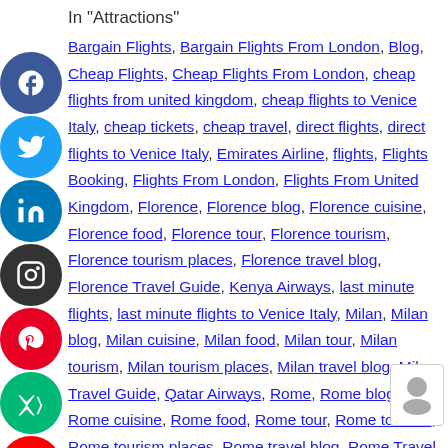In "Attractions"
Bargain Flights, Bargain Flights From London, Blog, Cheap Flights, Cheap Flights From London, cheap flights from united kingdom, cheap flights to Venice Italy, cheap tickets, cheap travel, direct flights, direct flights to Venice Italy, Emirates Airline, flights, Flights Booking, Flights From London, Flights From United Kingdom, Florence, Florence blog, Florence cuisine, Florence food, Florence tour, Florence tourism, Florence tourism places, Florence travel blog, Florence Travel Guide, Kenya Airways, last minute flights, last minute flights to Venice Italy, Milan, Milan blog, Milan cuisine, Milan food, Milan tour, Milan tourism, Milan tourism places, Milan travel blog, Milan Travel Guide, Qatar Airways, Rome, Rome blog, Rome cuisine, Rome food, Rome tour, Rome tourism, Rome tourism places, Rome travel blog, Rome Travel Guide, special offers, travel, Travel Wide Flights, Traveling, Turkish Airlines, United Kingdom, Venice, Venice blog, Venice cuisine, Venice food, Venice tour, Venice...